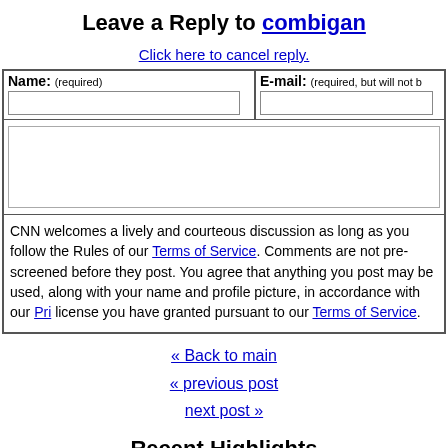Leave a Reply to combigan
Click here to cancel reply.
| Name: (required) | E-mail: (required, but will not be published) |
| --- | --- |
|  |  |
CNN welcomes a lively and courteous discussion as long as you follow the Rules of our Terms of Service. Comments are not pre-screened before they post. You agree that anything you post may be used, along with your name and profile picture, in accordance with our Privacy Policy and the license you have granted pursuant to our Terms of Service.
« Back to main
« previous post
next post »
Recent Highlights